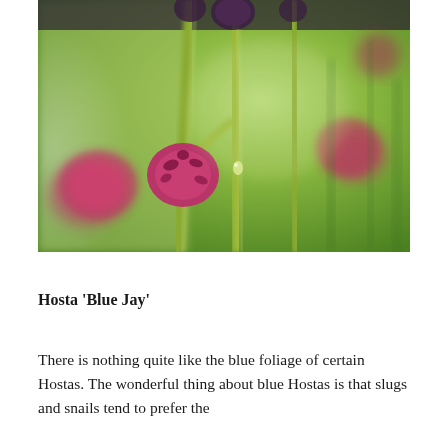[Figure (photo): Close-up macro photograph of globe amaranth or similar round pink/magenta flower buds on green stems, with blurred green background. Several round, spiky, deep pink flower heads visible at various distances.]
Hosta 'Blue Jay'
There is nothing quite like the blue foliage of certain Hostas. The wonderful thing about blue Hostas is that slugs and snails tend to prefer the